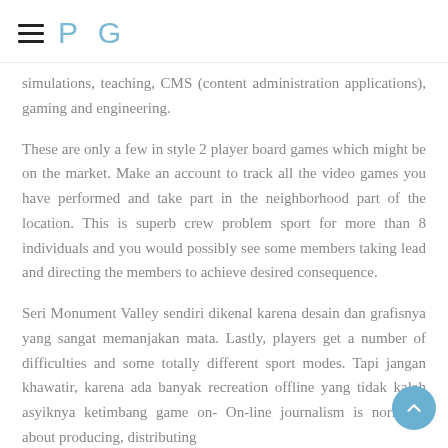P G
simulations, teaching, CMS (content administration applications), gaming and engineering.
These are only a few in style 2 player board games which might be on the market. Make an account to track all the video games you have performed and take part in the neighborhood part of the location. This is superb crew problem sport for more than 8 individuals and you would possibly see some members taking lead and directing the members to achieve desired consequence.
Seri Monument Valley sendiri dikenal karena desain dan grafisnya yang sangat memanjakan mata. Lastly, players get a number of difficulties and some totally different sport modes. Tapi jangan khawatir, karena ada banyak recreation offline yang tidak kalah asyiknya ketimbang game on- On-line journalism is normally about producing, distributing